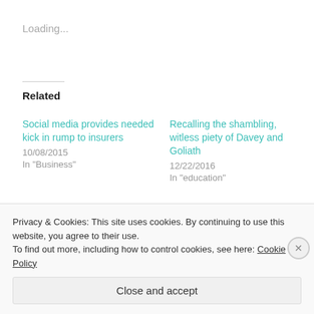Loading...
Related
Social media provides needed kick in rump to insurers
10/08/2015
In "Business"
Recalling the shambling, witless piety of Davey and Goliath
12/22/2016
In "education"
Snake in the grass bites snake on foot
Privacy & Cookies: This site uses cookies. By continuing to use this website, you agree to their use.
To find out more, including how to control cookies, see here: Cookie Policy
Close and accept